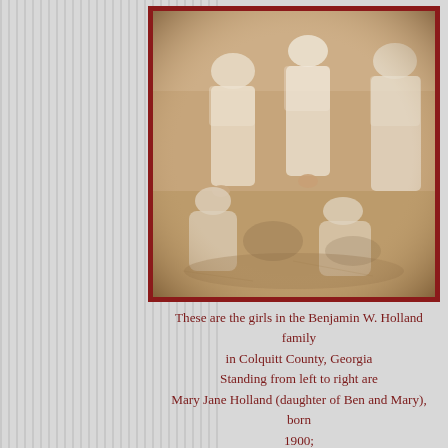[Figure (photo): Old sepia-toned photograph showing girls from the Benjamin W. Holland family in Colquitt County, Georgia. Several women in white dresses are visible, some standing and some sitting, in an outdoor setting.]
These are the girls in the Benjamin W. Holland family in Colquitt County, Georgia Standing from left to right are Mary Jane Holland (daughter of Ben and Mary), born 1900; Della Holland (daughter of Ben and Mary), born 1895; Rosa May West Holland (married Marion D. Holland); sitting are Molly Lee Holland (daughter), born 1892; and